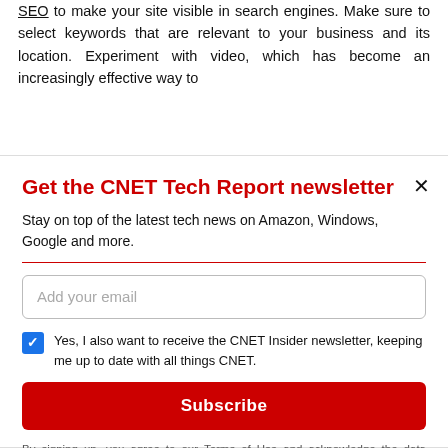SEO to make your site visible in search engines. Make sure to select keywords that are relevant to your business and its location. Experiment with video, which has become an increasingly effective way to
Get the CNET Tech Report newsletter
Stay on top of the latest tech news on Amazon, Windows, Google and more.
Add your email
Yes, I also want to receive the CNET Insider newsletter, keeping me up to date with all things CNET.
Subscribe
By signing up, you agree to our Terms of Use and acknowledge the data practices in our Privacy Policy. You may unsubscribe at any time.